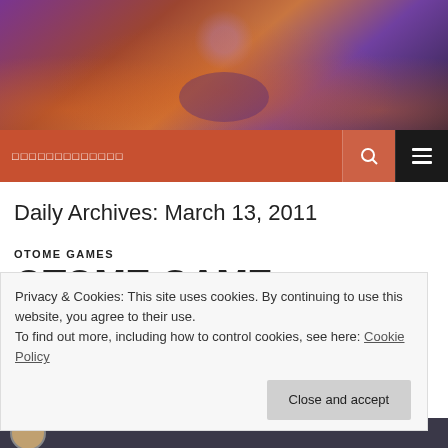[Figure (illustration): Colorful animated game scene header image with characters and pumpkins in purple and orange tones]
□□□□□□□□□□□□□
Daily Archives: March 13, 2011
OTOME GAMES
OTOME GAME REVIEW:
Privacy & Cookies: This site uses cookies. By continuing to use this website, you agree to their use.
To find out more, including how to control cookies, see here: Cookie Policy
Close and accept